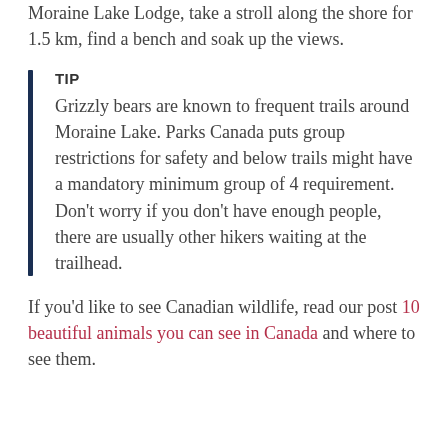Moraine Lake Lodge, take a stroll along the shore for 1.5 km, find a bench and soak up the views.
TIP
Grizzly bears are known to frequent trails around Moraine Lake. Parks Canada puts group restrictions for safety and below trails might have a mandatory minimum group of 4 requirement. Don't worry if you don't have enough people, there are usually other hikers waiting at the trailhead.
If you'd like to see Canadian wildlife, read our post 10 beautiful animals you can see in Canada and where to see them.